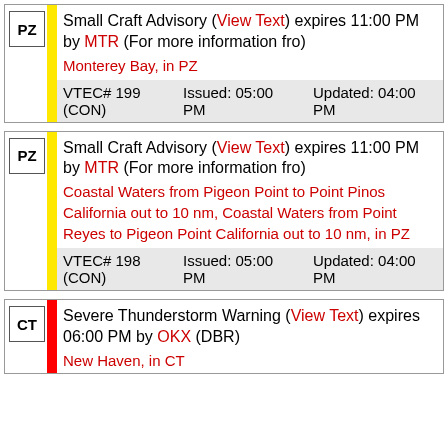PZ | Small Craft Advisory (View Text) expires 11:00 PM by MTR (For more information fro) Monterey Bay, in PZ VTEC# 199 (CON) Issued: 05:00 PM Updated: 04:00 PM
PZ | Small Craft Advisory (View Text) expires 11:00 PM by MTR (For more information fro) Coastal Waters from Pigeon Point to Point Pinos California out to 10 nm, Coastal Waters from Point Reyes to Pigeon Point California out to 10 nm, in PZ VTEC# 198 (CON) Issued: 05:00 PM Updated: 04:00 PM
CT | Severe Thunderstorm Warning (View Text) expires 06:00 PM by OKX (DBR) New Haven, in CT